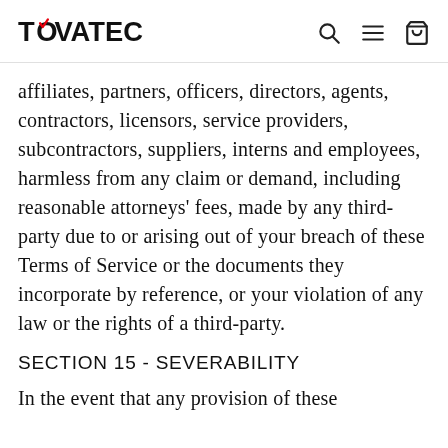TOVATEC [logo with navigation icons: search, menu, cart]
affiliates, partners, officers, directors, agents, contractors, licensors, service providers, subcontractors, suppliers, interns and employees, harmless from any claim or demand, including reasonable attorneys' fees, made by any third-party due to or arising out of your breach of these Terms of Service or the documents they incorporate by reference, or your violation of any law or the rights of a third-party.
SECTION 15 - SEVERABILITY
In the event that any provision of these